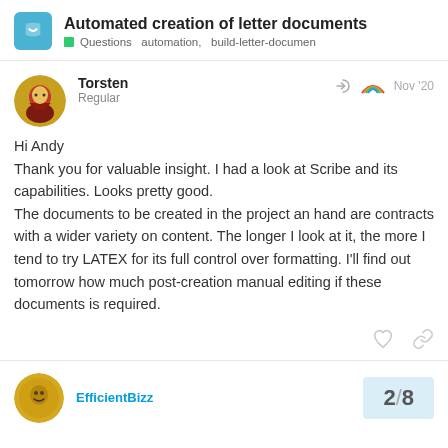Automated creation of letter documents
Questions  automation, build-letter-documen
Torsten
Regular
Nov '20
Hi Andy
Thank you for valuable insight. I had a look at Scribe and its capabilities. Looks pretty good.
The documents to be created in the project an hand are contracts with a wider variety on content. The longer I look at it, the more I tend to try LATEX for its full control over formatting. I'll find out tomorrow how much post-creation manual editing if these documents is required.
EfficientBizz
2 / 8